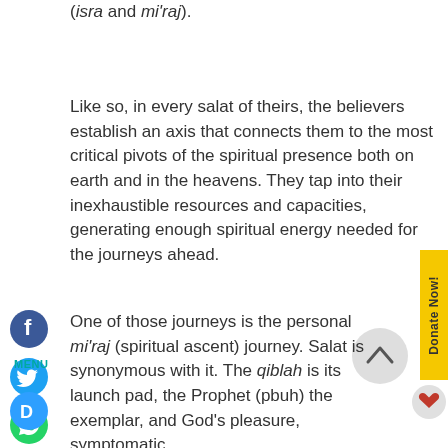(isra and mi'raj).
Like so, in every salat of theirs, the believers establish an axis that connects them to the most critical pivots of the spiritual presence both on earth and in the heavens. They tap into their inexhaustible resources and capacities, generating enough spiritual energy needed for the journeys ahead.
One of those journeys is the personal mi'raj (spiritual ascent) journey. Salat is synonymous with it. The qiblah is its launch pad, the Prophet (pbuh) the exemplar, and God's pleasure, symptomatic